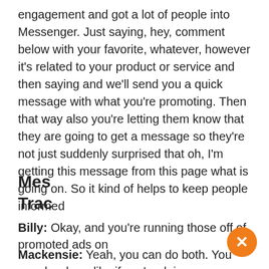engagement and got a lot of people into Messenger. Just saying, hey, comment below with your favorite, whatever, however it's related to your product or service and then saying and we'll send you a quick message with what you're promoting. Then that way also you're letting them know that they are going to get a message so they're not just suddenly surprised that oh, I'm getting this message from this page what is going on. So it kind of helps to keep people informed
[Figure (screenshot): Chat widget popup overlay showing 'Funnel Bot' branding with orange header, purple circular icon with white ring, message 'Hey there! Can I help you find something?', and 'Powered by ChatFunnels' footer. An orange close button with X is visible at bottom right.]
Mes... f Trac...
Billy: Okay, and you're running those off of promoted ads on...
Mackensie: Yeah, you can do both. You can do where like if you're doing a Facebook Live you can have it a...